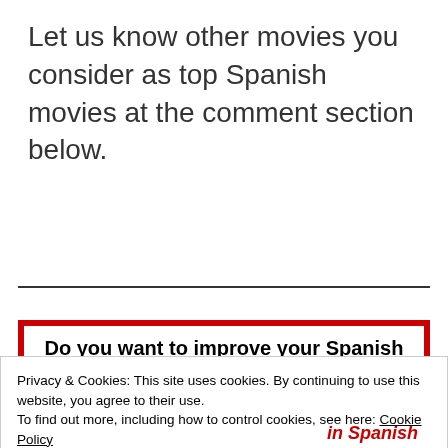Let us know other movies you consider as top Spanish movies at the comment section below.
Do you want to improve your Spanish
Privacy & Cookies: This site uses cookies. By continuing to use this website, you agree to their use.
To find out more, including how to control cookies, see here: Cookie Policy
Close and accept
in Spanish